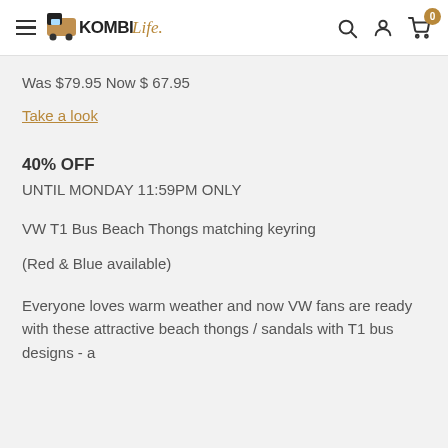KombiLife
Was $79.95 Now $ 67.95
Take a look
40% OFF
UNTIL MONDAY 11:59PM ONLY
VW T1 Bus Beach Thongs matching keyring
(Red & Blue available)
Everyone loves warm weather and now VW fans are ready with these attractive beach thongs / sandals with T1 bus designs - a